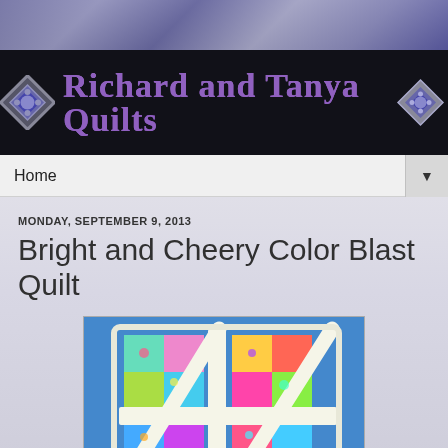[Figure (logo): Richard and Tanya Quilts blog header with purple stylized text logo, two diamond quilt block icons on either side, on a dark/black background with a blue-purple textured top portion]
Home
MONDAY, SEPTEMBER 9, 2013
Bright and Cheery Color Blast Quilt
[Figure (photo): Photo of a colorful quilt with bright multicolored floral and striped fabrics in a lattice/woven pattern with white sashing, displayed on a blue background]